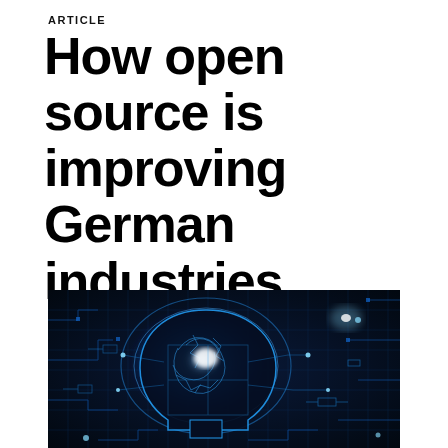ARTICLE
How open source is improving German industries
[Figure (photo): A glowing blue digital brain/human head silhouette with circuit board patterns and neural network connections, set against a dark futuristic circuit board background with blue lighting effects.]